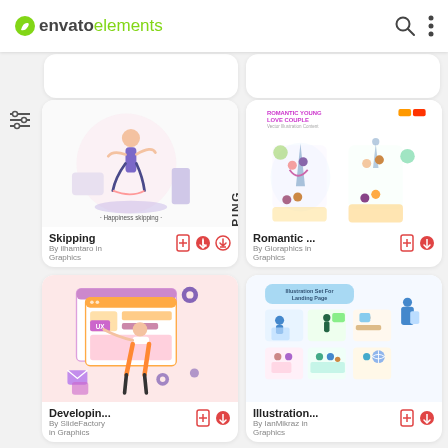envato elements
[Figure (screenshot): Partially visible top card stubs]
[Figure (illustration): Skipping illustration card — woman doing yoga/skipping, title: Skipping, By ilhamtaro in Graphics]
[Figure (illustration): Romantic young love couple illustration card — couples at landmarks, title: Romantic ..., By Gioraphics in Graphics]
[Figure (illustration): Developing/UX illustration card — woman pointing at UI screens, title: Developin..., By SlideFactory in Graphics]
[Figure (illustration): Illustration Set For Landing Page card, title: Illustration..., By IanMikraz in Graphics]